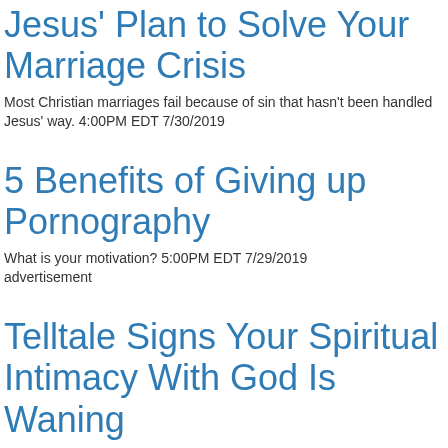Jesus' Plan to Solve Your Marriage Crisis
Most Christian marriages fail because of sin that hasn't been handled Jesus' way. 4:00PM EDT 7/30/2019
5 Benefits of Giving up Pornography
What is your motivation? 5:00PM EDT 7/29/2019
advertisement
Telltale Signs Your Spiritual Intimacy With God Is Waning